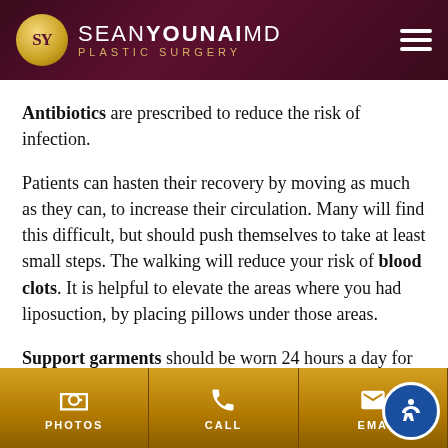SEAN YOUNAI MD PLASTIC SURGERY
Antibiotics are prescribed to reduce the risk of infection.
Patients can hasten their recovery by moving as much as they can, to increase their circulation. Many will find this difficult, but should push themselves to take at least small steps. The walking will reduce your risk of blood clots. It is helpful to elevate the areas where you had liposuction, by placing pillows under those areas.
Support garments should be worn 24 hours a day for three weeks, and then during the daytime for the next three weeks. This will help to reduce swelling, and to help shrink the skin.
PHOTOS | CALL | EMAIL